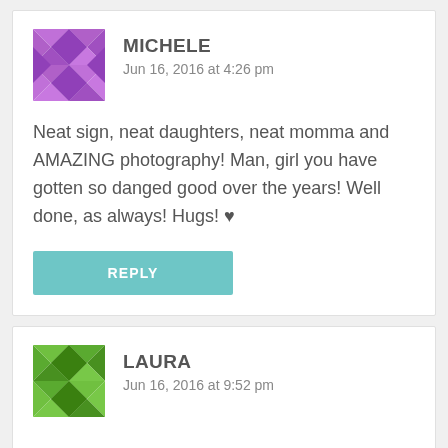[Figure (illustration): Purple geometric/quilt-pattern avatar icon for user Michele]
MICHELE
Jun 16, 2016 at 4:26 pm
Neat sign, neat daughters, neat momma and AMAZING photography! Man, girl you have gotten so danged good over the years! Well done, as always! Hugs! ♥
REPLY
[Figure (illustration): Green geometric/quilt-pattern avatar icon for user Laura]
LAURA
Jun 16, 2016 at 9:52 pm
They are beautiful young ladies Karianne. I